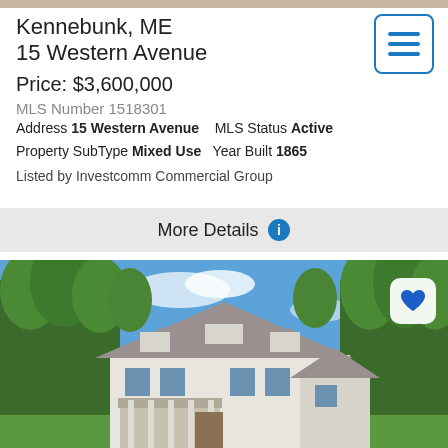[Figure (screenshot): Thin decorative top bar]
Kennebunk, ME
15 Western Avenue
Price: $3,600,000
MLS Number 1518301
Address 15 Western Avenue   MLS Status Active
Property SubType Mixed Use   Year Built 1865
Listed by Investcomm Commercial Group
More Details
[Figure (photo): Exterior photo of a large white colonial/craftsman style house surrounded by trees, with a blue sky background. A blue heart/favorite icon button appears in the upper right of the photo.]